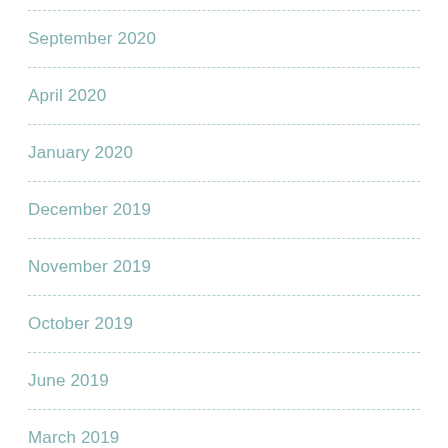September 2020
April 2020
January 2020
December 2019
November 2019
October 2019
June 2019
March 2019
December 2018
October 2018